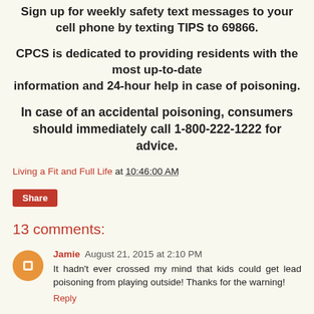Sign up for weekly safety text messages to your cell phone by texting TIPS to 69866.
CPCS is dedicated to providing residents with the most up-to-date information and 24-hour help in case of poisoning.
In case of an accidental poisoning, consumers should immediately call 1-800-222-1222 for advice.
Living a Fit and Full Life at 10:46:00 AM
Share
13 comments:
Jamie August 21, 2015 at 2:10 PM
It hadn't ever crossed my mind that kids could get lead poisoning from playing outside! Thanks for the warning!
Reply